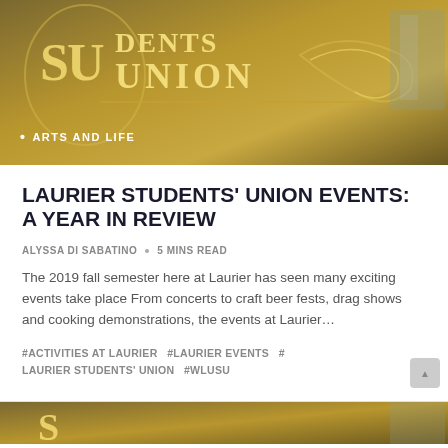[Figure (photo): Students Union building sign with gold lettering on a tan/gold wall background, with 'ARTS AND LIFE' label overlay]
LAURIER STUDENTS' UNION EVENTS: A YEAR IN REVIEW
ALYSSA DI SABATINO · 5 MINS READ
The 2019 fall semester here at Laurier has seen many exciting events take place From concerts to craft beer fests, drag shows and cooking demonstrations, the events at Laurier…
#ACTIVITIES AT LAURIER   #LAURIER EVENTS   # LAURIER STUDENTS' UNION   #WLUSU
[Figure (photo): Partial view of another article with the same Students Union sign at the bottom of the page]